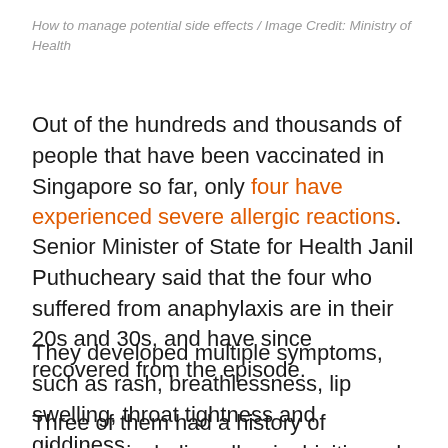How to manage potential side effects / Image Credit: Ministry of Health
Out of the hundreds and thousands of people that have been vaccinated in Singapore so far, only four have experienced severe allergic reactions.
Senior Minister of State for Health Janil Puthucheary said that the four who suffered from anaphylaxis are in their 20s and 30s, and have since recovered from the episode.
They developed multiple symptoms, such as rash, breathlessness, lip swelling, throat tightness and giddiness.
Three of them had a history of allergies, including allergic rhinitis and allergies to food such as shellfish